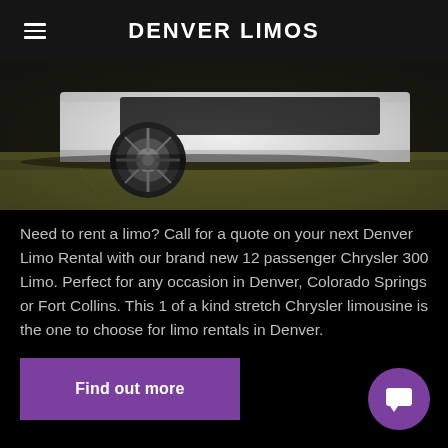DENVER LIMOS
[Figure (photo): Close-up of a white stretch limousine wheel and lower body on grass background]
Need to rent a limo? Call for a quote on your next Denver Limo Rental with our brand new 12 passenger Chrysler 300 Limo. Perfect for any occasion in Denver, Colorado Springs or Fort Collins. This 1 of a kind stretch Chrysler limousine is the one to choose for limo rentals in Denver.
Find out more